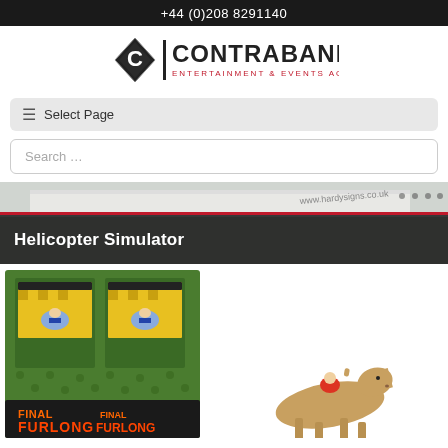+44 (0)208 8291140
[Figure (logo): Contraband Entertainment & Events Agency logo with diamond C icon]
Select Page
Search ...
Helicopter Simulator
[Figure (photo): Horse racing arcade game cabinet (Final Furlong) with green exterior, two screens showing jockey graphics, and a horse figure to the right]